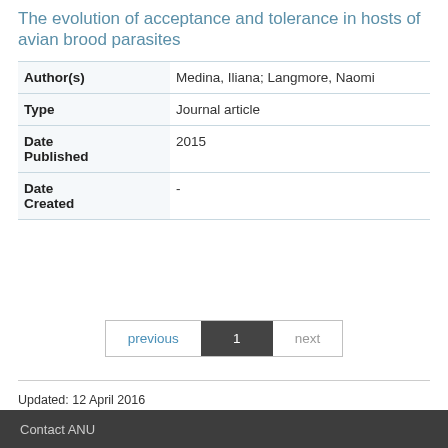The evolution of acceptance and tolerance in hosts of avian brood parasites
|  |  |
| --- | --- |
| Author(s) | Medina, Iliana; Langmore, Naomi |
| Type | Journal article |
| Date Published | 2015 |
| Date Created | - |
Updated: 12 April 2016
Responsible Officer: University Librarian
Page Contact: Library Systems & Web Coordinator
Contact ANU